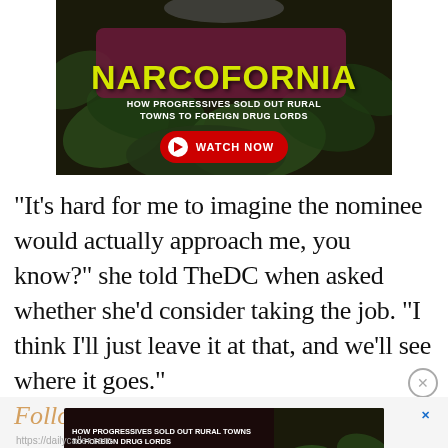[Figure (screenshot): Advertisement banner for 'Narcofornia' documentary: dark background with cannabis imagery, yellow title text 'NARCOFORNIA', subtitle 'HOW PROGRESSIVES SOLD OUT RURAL TOWNS TO FOREIGN DRUG LORDS', red WATCH NOW button with play icon.]
“It’s hard for me to imagine the nominee would actually approach me, you know?” she told TheDC when asked whether she’d consider taking the job. “I think I’ll just leave it at that, and we’ll see where it goes.”
[Figure (screenshot): Second advertisement banner for 'Narcofornia' documentary: smaller version with subtitle 'HOW PROGRESSIVES SOLD OUT RURAL TOWNS TO FOREIGN DRUG LORDS', red WATCH NOW button, and Narcofornia logo on right side. Blue X close button in top right.]
https://dailycaller.com